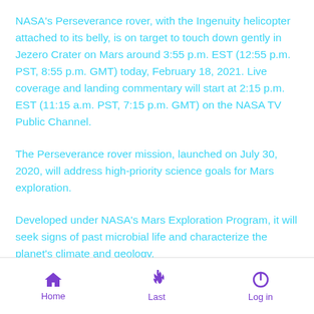NASA's Perseverance rover, with the Ingenuity helicopter attached to its belly, is on target to touch down gently in Jezero Crater on Mars around 3:55 p.m. EST (12:55 p.m. PST, 8:55 p.m. GMT) today, February 18, 2021. Live coverage and landing commentary will start at 2:15 p.m. EST (11:15 a.m. PST, 7:15 p.m. GMT) on the NASA TV Public Channel.
The Perseverance rover mission, launched on July 30, 2020, will address high-priority science goals for Mars exploration.
Developed under NASA's Mars Exploration Program, it will seek signs of past microbial life and characterize the planet's climate and geology.
It will also collect samples of Martian rocks and dust for a future Mars Sample Return mission to Earth, while paving the way for human exploration of the Red Planet.
Home  Last  Log in